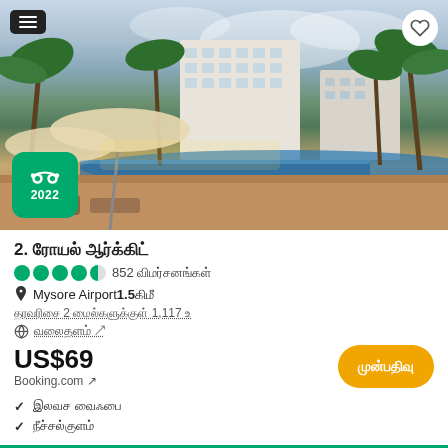[Figure (photo): Hotel exterior with pool, palm trees, and outdoor seating area. TripAdvisor 2022 award badge visible bottom left. Menu icon top left, heart/save icon top right.]
2. ரோயல் ஆர்க்கிட்
●●●●◑ 852 விமர்சனங்கள்
📍 Mysore Airport1.5கிமீ
தரவரிசை 2 மைல்களுக்குள் 1,117 உ
🌐 வலைதளம் ↗
US$69
Booking.com ↗
✓ இலவச வைஃபை
✓ நீச்சல்குளம்